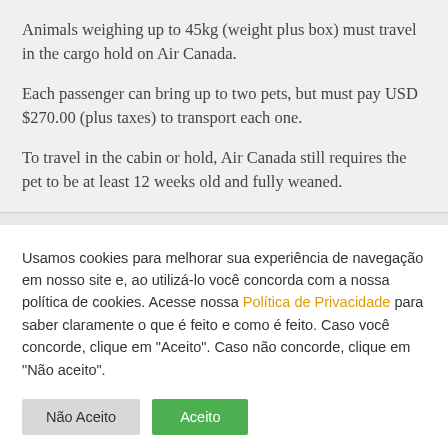Animals weighing up to 45kg (weight plus box) must travel in the cargo hold on Air Canada.
Each passenger can bring up to two pets, but must pay USD $270.00 (plus taxes) to transport each one.
To travel in the cabin or hold, Air Canada still requires the pet to be at least 12 weeks old and fully weaned.
Usamos cookies para melhorar sua experiência de navegação em nosso site e, ao utilizá-lo você concorda com a nossa política de cookies. Acesse nossa Política de Privacidade para saber claramente o que é feito e como é feito. Caso você concorde, clique em "Aceito". Caso não concorde, clique em "Não aceito".
Não Aceito
Aceito